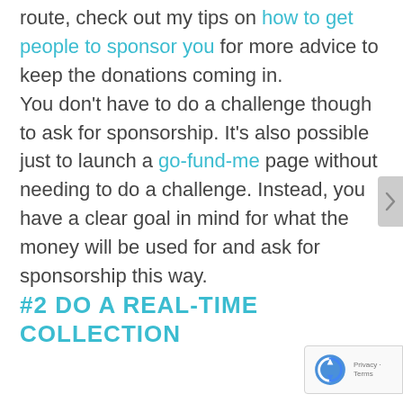route, check out my tips on how to get people to sponsor you for more advice to keep the donations coming in.

You don't have to do a challenge though to ask for sponsorship. It's also possible just to launch a go-fund-me page without needing to do a challenge. Instead, you have a clear goal in mind for what the money will be used for and ask for sponsorship this way.
#2 DO A REAL-TIME COLLECTION